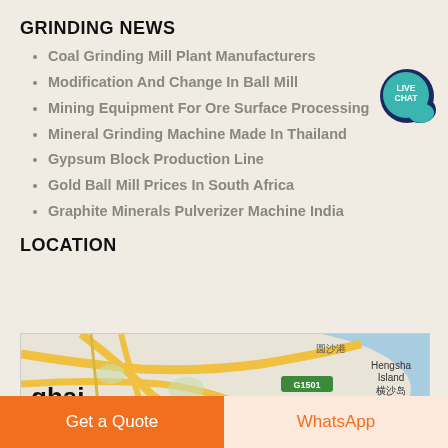GRINDING NEWS
Coal Grinding Mill Plant Manufacturers
Modification And Change In Ball Mill
Mining Equipment For Ore Surface Processing
Mineral Grinding Machine Made In Thailand
Gypsum Block Production Line
Gold Ball Mill Prices In South Africa
Graphite Minerals Pulverizer Machine India
[Figure (other): Live Chat speech bubble badge with text LIVE CHAT in teal/dark blue]
LOCATION
[Figure (map): Google map showing Shanghai area including Hengsha Island, roads G1501, S121, G228, G221, and Chinese text labels]
Get a Quote
WhatsApp